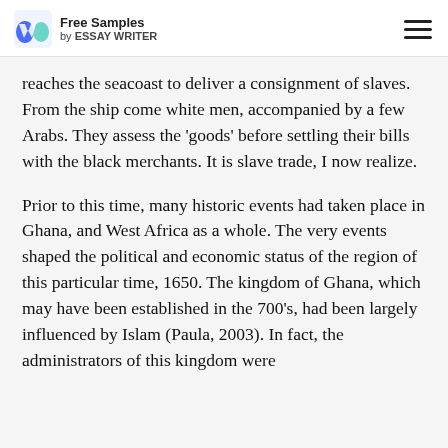Free Samples by ESSAY WRITER
reaches the seacoast to deliver a consignment of slaves. From the ship come white men, accompanied by a few Arabs. They assess the 'goods' before settling their bills with the black merchants. It is slave trade, I now realize.
Prior to this time, many historic events had taken place in Ghana, and West Africa as a whole. The very events shaped the political and economic status of the region of this particular time, 1650. The kingdom of Ghana, which may have been established in the 700's, had been largely influenced by Islam (Paula, 2003). In fact, the administrators of this kingdom were